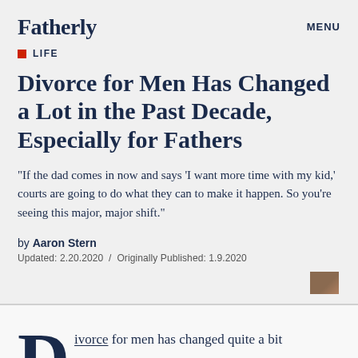Fatherly
MENU
LIFE
Divorce for Men Has Changed a Lot in the Past Decade, Especially for Fathers
"If the dad comes in now and says 'I want more time with my kid,' courts are going to do what they can to make it happen. So you're seeing this major, major shift."
by Aaron Stern
Updated: 2.20.2020 / Originally Published: 1.9.2020
[Figure (photo): Small thumbnail image in top right area]
Divorce for men has changed quite a bit